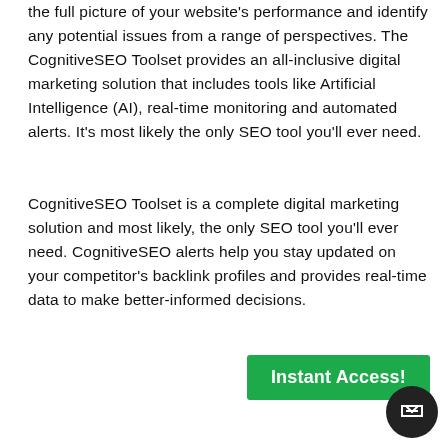the full picture of your website's performance and identify any potential issues from a range of perspectives. The CognitiveSEO Toolset provides an all-inclusive digital marketing solution that includes tools like Artificial Intelligence (AI), real-time monitoring and automated alerts. It's most likely the only SEO tool you'll ever need.
CognitiveSEO Toolset is a complete digital marketing solution and most likely, the only SEO tool you'll ever need. CognitiveSEO alerts help you stay updated on your competitor's backlink profiles and provides real-time data to make better-informed decisions.
Instant Access!